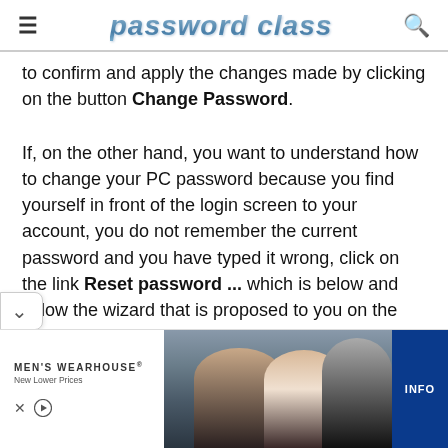password class
to confirm and apply the changes made by clicking on the button Change Password.
If, on the other hand, you want to understand how to change your PC password because you find yourself in front of the login screen to your account, you do not remember the current password and you have typed it wrong, click on the link Reset password ... which is below and follow the wizard that is proposed to you on the screen to create a password recovery disk which can be a USB or a floppy disk.
[Figure (photo): Advertisement banner for Men's Wearhouse showing a couple in formal wear (man in tuxedo, woman in gown) and a man in a tuxedo on the right, with INFO button]